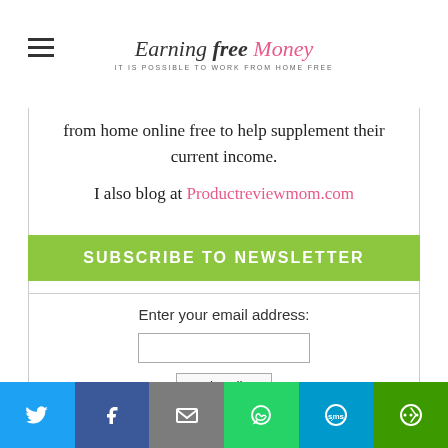Earning Free Money — IT IS POSSIBLE TO WORK FROM HOME FREE
from home online free to help supplement their current income.
I also blog at Productreviewmom.com
SUBSCRIBE TO NEWSLETTER
Enter your email address:
Subscribe
Delivered by FeedBurner
Twitter, Facebook, Email, WhatsApp, SMS, More social share buttons